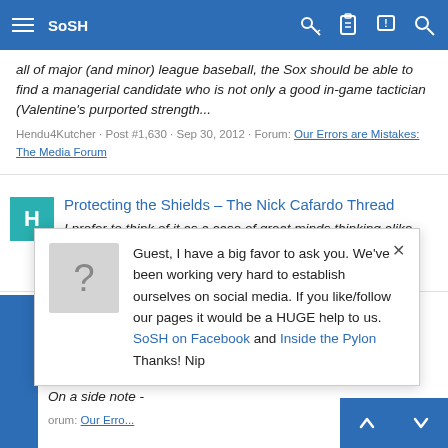SoSH navigation bar
all of major (and minor) league baseball, the Sox should be able to find a managerial candidate who is not only a good in-game tactician (Valentine's purported strength...
Hendu4Kutcher · Post #1,630 · Sep 30, 2012 · Forum: Our Errors are Mistakes: The Media Forum
Protecting the Shields – The Nick Cafardo Thread
I prefer to think of it as a case of great minds thinking alike.
Hendu4Kutcher · Post #1,603 · Sep 1, 2012 · Forum: Our Errors are Mistakes: The Media Forum
Guest, I have a big favor to ask you. We've been working very hard to establish ourselves on social media. If you like/follow our pages it would be a HUGE help to us. SoSH on Facebook and Inside the Pylon Thanks! Nip